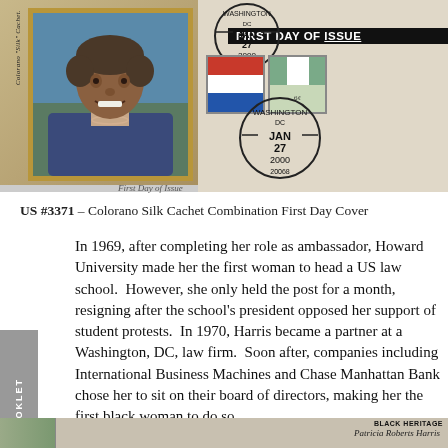[Figure (photo): First Day of Issue envelope featuring a Colorano Silk Cachet with a portrait of Patricia Roberts Harris on the left, and postmarks/stamps on the right. Washington DC postmark dated JAN 27 2000, 20068. Header reads FIRST DAY OF ISSUE.]
First Day of Issue
US #3371 – Colorano Silk Cachet Combination First Day Cover
In 1969, after completing her role as ambassador, Howard University made her the first woman to head a US law school.  However, she only held the post for a month, resigning after the school's president opposed her support of student protests.  In 1970, Harris became a partner at a Washington, DC, law firm.  Soon after, companies including International Business Machines and Chase Manhattan Bank chose her to sit on their board of directors, making her the first black woman to do so.
[Figure (photo): Bottom strip showing partial image of Patricia Roberts Harris stamp or cover, with text 'Patricia Roberts Harris' and 'BLACK HERITAGE' label visible.]